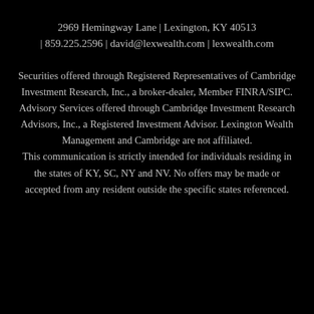2969 Hemingway Lane | Lexington, KY 40513 | 859.225.2596 | david@lexwealth.com | lexwealth.com
Securities offered through Registered Representatives of Cambridge Investment Research, Inc., a broker-dealer, Member FINRA/SIPC. Advisory Services offered through Cambridge Investment Research Advisors, Inc., a Registered Investment Advisor. Lexington Wealth Management and Cambridge are not affiliated. This communication is strictly intended for individuals residing in the states of KY, SC, NY and NV. No offers may be made or accepted from any resident outside the specific states referenced.